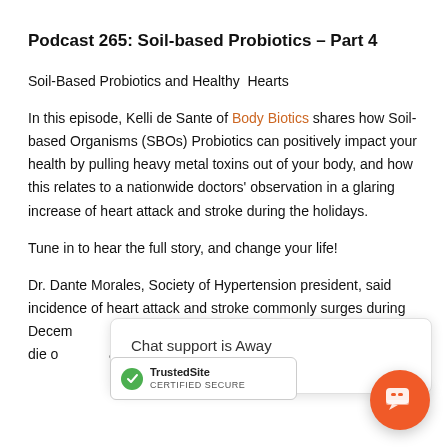Podcast 265: Soil-based Probiotics – Part 4
Soil-Based Probiotics and Healthy  Hearts
In this episode, Kelli de Sante of Body Biotics shares how Soil-based Organisms (SBOs) Probiotics can positively impact your health by pulling heavy metal toxins out of your body, and how this relates to a nationwide doctors' observation in a glaring increase of heart attack and stroke during the holidays.
Tune in to hear the full story, and change your life!
Dr. Dante Morales, Society of Hypertension president, said incidence of heart attack and stroke commonly surges during Dece... n Christm... / Y... atie die o... ashing the hospitals or just days after